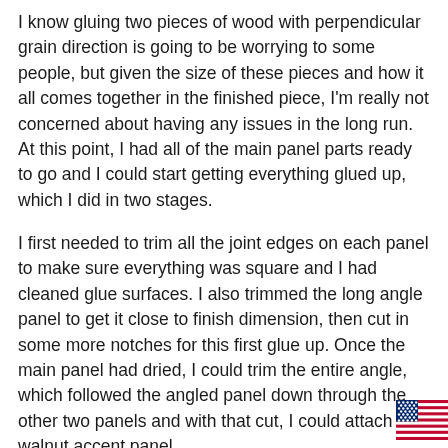I know gluing two pieces of wood with perpendicular grain direction is going to be worrying to some people, but given the size of these pieces and how it all comes together in the finished piece, I'm really not concerned about having any issues in the long run. At this point, I had all of the main panel parts ready to go and I could start getting everything glued up, which I did in two stages.
I first needed to trim all the joint edges on each panel to make sure everything was square and I had cleaned glue surfaces. I also trimmed the long angle panel to get it close to finish dimension, then cut in some more notches for this first glue up. Once the main panel had dried, I could trim the entire angle, which followed the angled panel down through the other two panels and with that cut, I could attach the walnut accent panel.
With that, the main panel is completely assembled and I can get to work on the shelves, I designed the piece to have three shelves, one along the top edge and two lower shelves placed pretty arbitrarily on the left side of the main panel. Besides milling some walnut down to finished thickness, the only other thing I needed to thi
[Figure (illustration): American flag icon in the bottom right corner, partially cut off]